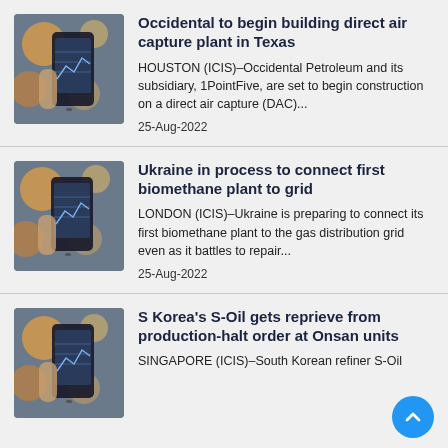[Figure (photo): Person holding a smartphone displaying a data/chart app, blurred bokeh background with warm orange lights]
Occidental to begin building direct air capture plant in Texas
HOUSTON (ICIS)–Occidental Petroleum and its subsidiary, 1PointFive, are set to begin construction on a direct air capture (DAC)...
25-Aug-2022
[Figure (photo): Person holding a smartphone displaying a data/chart app, blurred bokeh background with warm orange lights]
Ukraine in process to connect first biomethane plant to grid
LONDON (ICIS)–Ukraine is preparing to connect its first biomethane plant to the gas distribution grid even as it battles to repair...
25-Aug-2022
[Figure (photo): Person holding a smartphone displaying a data/chart app, blurred bokeh background with warm orange lights]
S Korea's S-Oil gets reprieve from production-halt order at Onsan units
SINGAPORE (ICIS)–South Korean refiner S-Oil